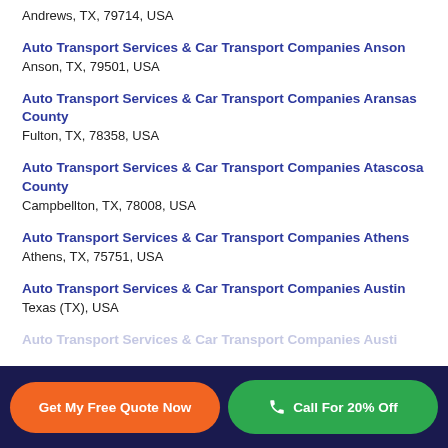Andrews, TX, 79714, USA
Auto Transport Services & Car Transport Companies Anson
Anson, TX, 79501, USA
Auto Transport Services & Car Transport Companies Aransas County
Fulton, TX, 78358, USA
Auto Transport Services & Car Transport Companies Atascosa County
Campbellton, TX, 78008, USA
Auto Transport Services & Car Transport Companies Athens
Athens, TX, 75751, USA
Auto Transport Services & Car Transport Companies Austin
Texas (TX), USA
Auto Transport Services & Car Transport Companies Austi…
Get My Free Quote Now   Call For 20% Off